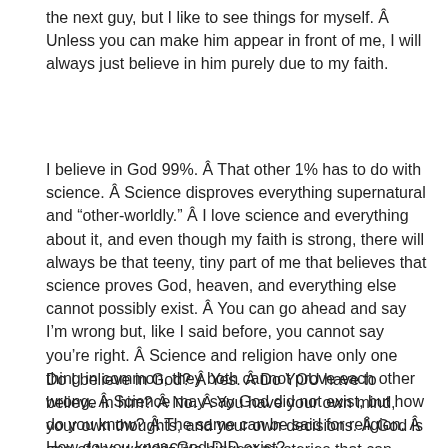the next guy, but I like to see things for myself. Â Unless you can make him appear in front of me, I will always just believe in him purely due to my faith.
I believe in God 99%. Â That other 1% has to do with science. Â Science disproves everything supernatural and “other-worldly.” Â I love science and everything about it, and even though my faith is strong, there will always be that teeny, tiny part of me that believes that science proves God, heaven, and everything else cannot possibly exist. Â You can go ahead and say I’m wrong but, like I said before, you cannot say you’re right. Â Science and religion have only one thing in common, they both cannot prove each other wrong. Â Science may say God did not exist, but how do you know? Â The same can be said for religion. Â How do you know God DID exist?
Do I believe in God? Â Yes. Â Do YOU have to believe in him? Â No. Â You have your own mind, your own thoughts, and your own decisions. Â God is one of the worldâ€™s biggest mysteries that can never be solved as long as you are alive. Â To some people, God is real, for they have witnessed his hand at play. Â For me, I’ve seen a